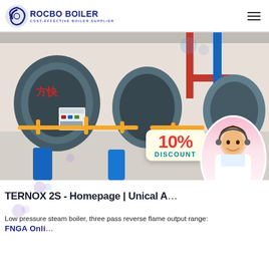[Figure (logo): Rocbo Boiler logo with circular icon and text 'ROCBO BOILER / COST-EFFECTIVE BOILER SUPPLIER' in navy blue]
[Figure (photo): Industrial boiler room with multiple large blue cylindrical boilers (Fangkuai brand), yellow gas pipes, red pipes, control panels, and a 10% DISCOUNT badge overlay. A female customer service consultant with headset is shown in the bottom right corner.]
TERNOX 2S - Homepage | Unical A...
Low pressure steam boiler, three pass reverse flame output range:
FNGA Onli...